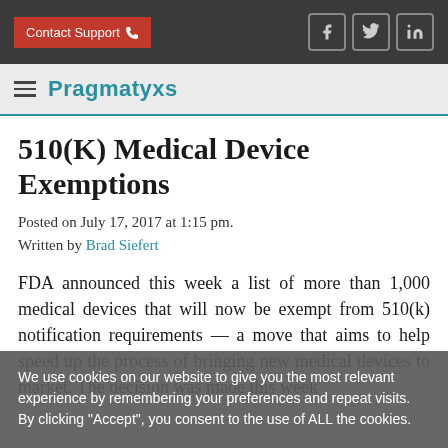Contact Support | [social icons: Facebook, Twitter, LinkedIn]
Pragmatyxs
510(K) Medical Device Exemptions
Posted on July 17, 2017 at 1:15 pm.
Written by Brad Siefert
FDA announced this week a list of more than 1,000 medical devices that will now be exempt from 510(k) notification requirements — a move that aims to help speed up the process of bringing new medical devices to market. The decision was made this week
We use cookies on our website to give you the most relevant experience by remembering your preferences and repeat visits. By clicking "Accept", you consent to the use of ALL the cookies.